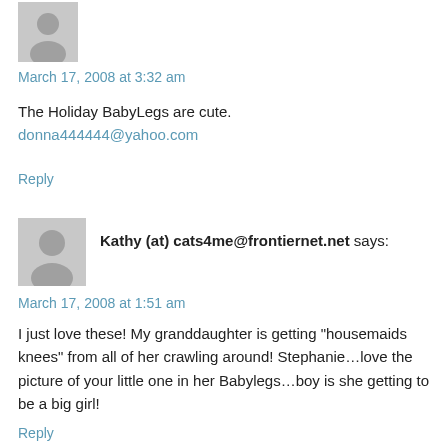[Figure (illustration): Gray avatar silhouette icon for first commenter]
March 17, 2008 at 3:32 am
The Holiday BabyLegs are cute.
donna444444@yahoo.com
Reply
[Figure (illustration): Gray avatar silhouette icon for Kathy]
Kathy (at) cats4me@frontiernet.net says:
March 17, 2008 at 1:51 am
I just love these! My granddaughter is getting "housemaids knees" from all of her crawling around! Stephanie…love the picture of your little one in her Babylegs…boy is she getting to be a big girl!
Reply